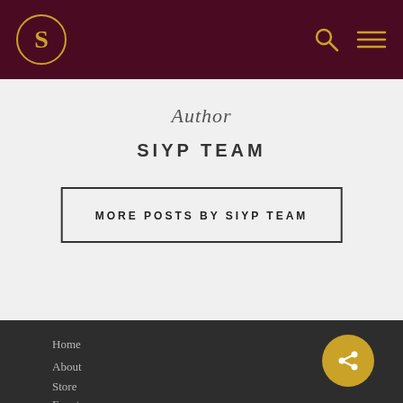S — SIYP Team website header with logo and navigation icons
Author
SIYP TEAM
MORE POSTS BY SIYP TEAM
Home
About
Store
Events